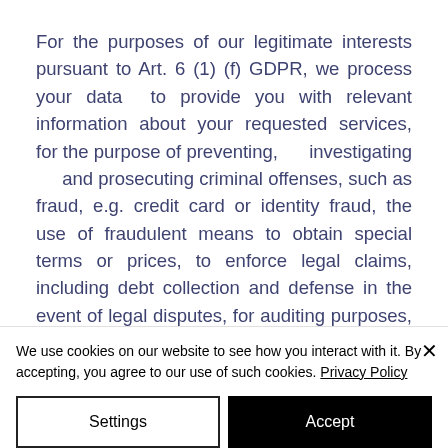For the purposes of our legitimate interests pursuant to Art. 6 (1) (f) GDPR, we process your data to provide you with relevant information about your requested services, for the purpose of preventing, investigating and prosecuting criminal offenses, such as fraud, e.g. credit card or identity fraud, the use of fraudulent means to obtain special terms or prices, to enforce legal claims, including debt collection and defense in the event of legal disputes, for auditing purposes, to
We use cookies on our website to see how you interact with it. By accepting, you agree to our use of such cookies. Privacy Policy